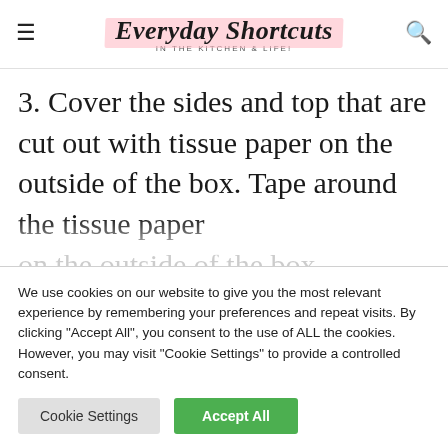Everyday Shortcuts IN THE KITCHEN & LIFE!
3. Cover the sides and top that are cut out with tissue paper on the outside of the box. Tape around the tissue paper on the outside of the box…
We use cookies on our website to give you the most relevant experience by remembering your preferences and repeat visits. By clicking "Accept All", you consent to the use of ALL the cookies. However, you may visit "Cookie Settings" to provide a controlled consent.
Cookie Settings | Accept All